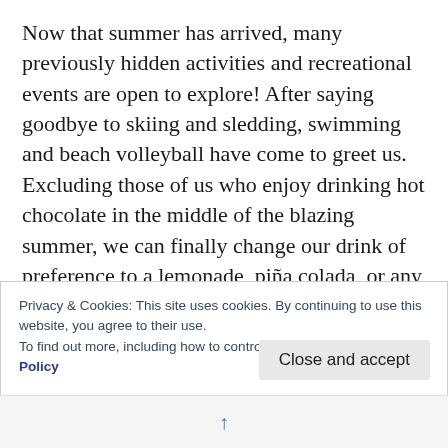Now that summer has arrived, many previously hidden activities and recreational events are open to explore! After saying goodbye to skiing and sledding, swimming and beach volleyball have come to greet us. Excluding those of us who enjoy drinking hot chocolate in the middle of the blazing summer, we can finally change our drink of preference to a lemonade, piña colada, or any refreshing beverage to fend off the heat. With so much to do in the two months that make up summer vacation, it's easy to forget about our actions' impact on the environment. However, given that we are traversing
Privacy & Cookies: This site uses cookies. By continuing to use this website, you agree to their use.
To find out more, including how to control cookies, see here: Cookie Policy
Close and accept